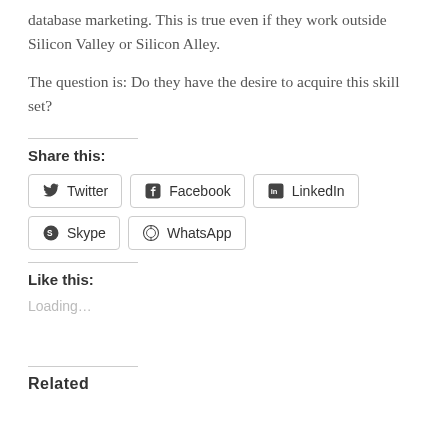database marketing. This is true even if they work outside Silicon Valley or Silicon Alley.
The question is: Do they have the desire to acquire this skill set?
Share this:
Twitter | Facebook | LinkedIn | Skype | WhatsApp
Like this:
Loading...
Related